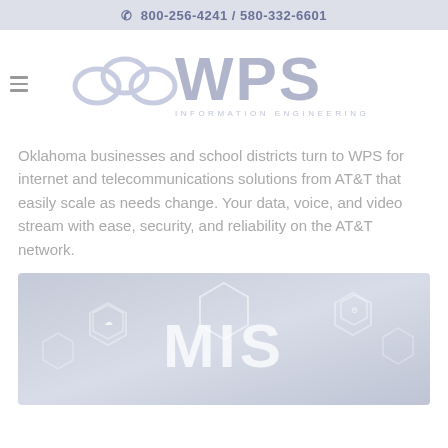800-256-4241 / 580-332-6601
[Figure (logo): WPS Information Engineering logo with Olympic-style rings and large WPS text]
Oklahoma businesses and school districts turn to WPS for internet and telecommunications solutions from AT&T that easily scale as needs change. Your data, voice, and video stream with ease, security, and reliability on the AT&T network.
[Figure (photo): Background photo with MIS text overlay and hexagonal network icons on a blue/grey background]